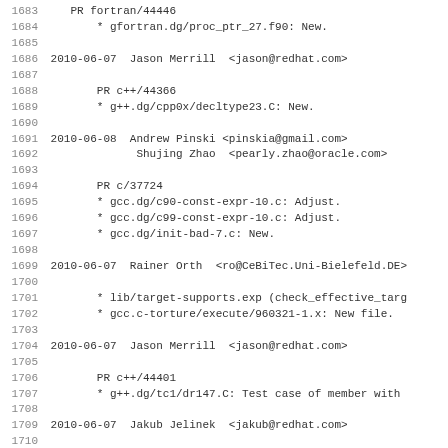Changelog/commit log entries for GCC, lines 1683-1714
1683    PR fortran/44446
1684        * gfortran.dg/proc_ptr_27.f90: New.
1685
1686 2010-06-07  Jason Merrill  <jason@redhat.com>
1687
1688        PR c++/44366
1689        * g++.dg/cpp0x/decltype23.C: New.
1690
1691 2010-06-08  Andrew Pinski <pinskia@gmail.com>
1692              Shujing Zhao  <pearly.zhao@oracle.com>
1693
1694        PR c/37724
1695        * gcc.dg/c90-const-expr-10.c: Adjust.
1696        * gcc.dg/c99-const-expr-10.c: Adjust.
1697        * gcc.dg/init-bad-7.c: New.
1698
1699 2010-06-07  Rainer Orth  <ro@CeBiTec.Uni-Bielefeld.DE>
1700
1701        * lib/target-supports.exp (check_effective_targ
1702        * gcc.c-torture/execute/960321-1.x: New file.
1703
1704 2010-06-07  Jason Merrill  <jason@redhat.com>
1705
1706        PR c++/44401
1707        * g++.dg/tc1/dr147.C: Test case of member with
1708
1709 2010-06-07  Jakub Jelinek  <jakub@redhat.com>
1710
1711        PR c++/44444
1712        * g++.dg/warn/Wunused-var-12.C: New test.
1713
1714        PR c++/44443